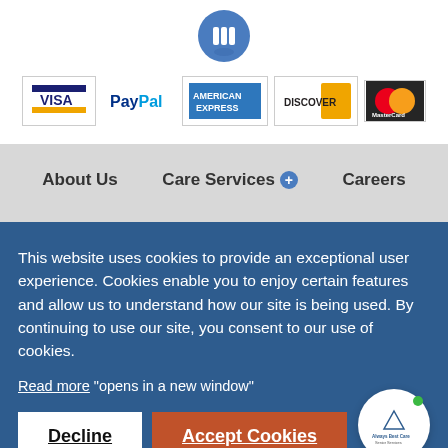[Figure (logo): Blue circle icon with three white vertical bars (hamburger/menu icon)]
[Figure (infographic): Row of payment method logos: Visa, PayPal, American Express, Discover, MasterCard]
About Us   Care Services +   Careers
This website uses cookies to provide an exceptional user experience. Cookies enable you to enjoy certain features and allow us to understand how our site is being used. By continuing to use our site, you consent to our use of cookies.
Read more "opens in a new window"
Decline
Accept Cookies
[Figure (logo): Always Best Care Senior Services circular logo badge]